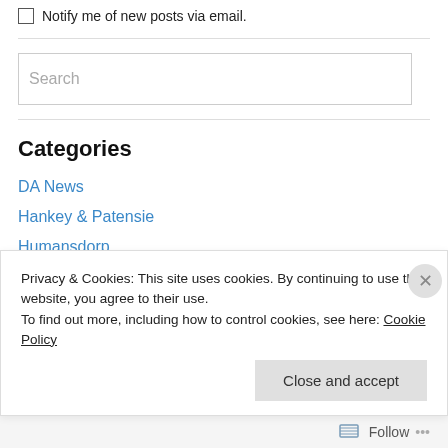Notify me of new posts via email.
Search
Categories
DA News
Hankey & Patensie
Humansdorp
Jeffreys Bay
Privacy & Cookies: This site uses cookies. By continuing to use this website, you agree to their use. To find out more, including how to control cookies, see here: Cookie Policy
Close and accept
Follow